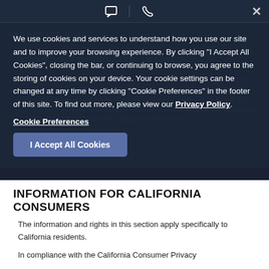[Figure (screenshot): Top navigation bar with chat icon, phone icon, and close (X) button on dark background]
PROMENADE PLACE
KEEPING YOUR INFORMATION UPDATED
Where you have set up an account on one of our Platforms through our Clients, it is up to you to keep your personal information up to date. If you are unable to update your personal information, please contact the relevant Client with which you have a primary relationship. If our Client is unable to assist you, we may be able to assist our Client with updating your information.
We use cookies and services to understand how you use our site and to improve your browsing experience. By clicking "I Accept All Cookies", closing the bar, or continuing to browse, you agree to the storing of cookies on your device. Your cookie settings can be changed at any time by clicking "Cookie Preferences" in the footer of this site. To find out more, please view our Privacy Policy.
Cookie Preferences
I Accept All Cookies
INFORMATION FOR CALIFORNIA CONSUMERS
The information and rights in this section apply specifically to California residents.
In compliance with the California Consumer Privacy